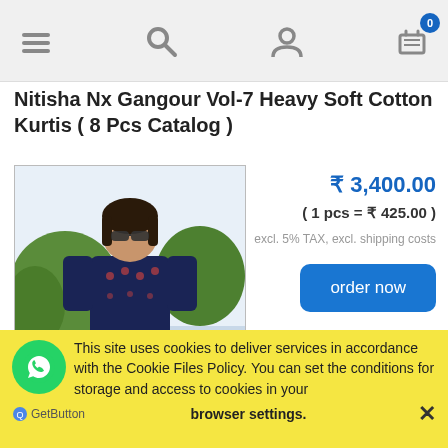[Figure (screenshot): Mobile app navigation bar with hamburger menu, search icon, user icon, and shopping cart icon with badge showing 0]
Nitisha Nx Gangour Vol-7 Heavy Soft Cotton Kurtis ( 8 Pcs Catalog )
[Figure (photo): A woman wearing a navy blue printed kurti with orange leggings, standing outdoors near a pool with greenery behind her.]
₹ 3,400.00
( 1 pcs = ₹ 425.00 )
excl. 5% TAX, excl. shipping costs
order now
Fashion Talk Dream Girl Vol-2 Rayon Koti Pattern
This site uses cookies to deliver services in accordance with the Cookie Files Policy. You can set the conditions for storage and access to cookies in your browser settings. ✕